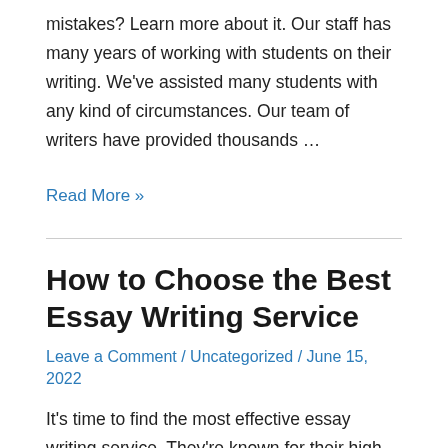mistakes? Learn more about it. Our staff has many years of working with students on their writing. We've assisted many students with any kind of circumstances. Our team of writers have provided thousands …
Read More »
How to Choose the Best Essay Writing Service
Leave a Comment / Uncategorized / June 15, 2022
It's time to find the most effective essay writing service. They're known for their high quality writing. It is possible to select from a range of types of essays. This includes essays for college and academic papers. Here are a few tips to select the right option for you. Read on to learn more. One …